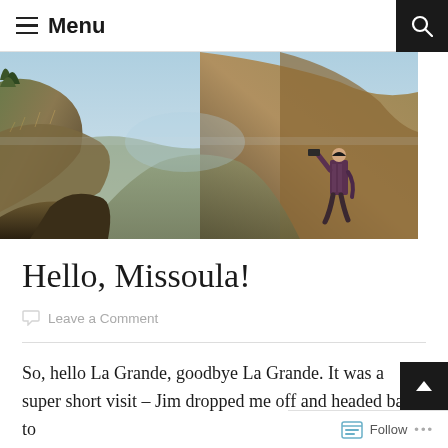≡ Menu
[Figure (photo): A person standing on a grassy hillside looking out over a rugged mountain canyon with brown dry grass hillsides and a blue sky]
Hello, Missoula!
Leave a Comment
So, hello La Grande, goodbye La Grande. It was a super short visit – Jim dropped me off and headed back to